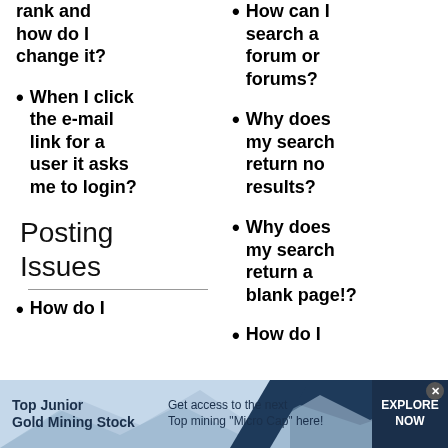rank and how do I change it?
How can I search a forum or forums?
When I click the e-mail link for a user it asks me to login?
Why does my search return no results?
Posting Issues
Why does my search return a blank page!?
How do I
How do I
[Figure (infographic): Advertisement banner for Top Junior Gold Mining Stock with blue background, showing 'Top Junior Gold Mining Stock', 'Get access to the next Top mining "Micro Cap" here!', and an 'EXPLORE NOW' button on the right]